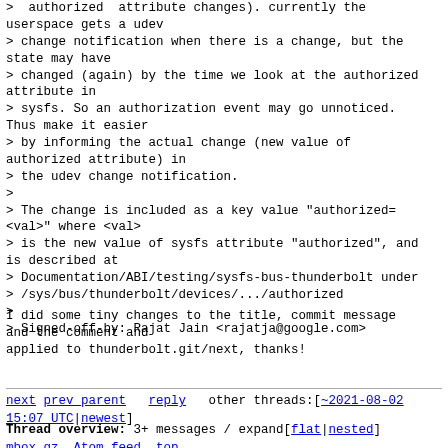> authorized attribute changes). currently the userspace gets a udev
> change notification when there is a change, but the state may have
> changed (again) by the time we look at the authorized attribute in
> sysfs. So an authorization event may go unnoticed. Thus make it easier
> by informing the actual change (new value of authorized attribute) in
> the udev change notification.
>
> The change is included as a key value "authorized=<val>" where <val>
> is the new value of sysfs attribute "authorized", and is described at
> Documentation/ABI/testing/sysfs-bus-thunderbolt under
> /sys/bus/thunderbolt/devices/.../authorized
>
> Signed-off-by: Rajat Jain <rajatja@google.com>
I did some tiny changes to the title, commit message and the comment and
applied to thunderbolt.git/next, thanks!
next prev parent reply   other threads:[~2021-08-02 15:07 UTC|newest]

Thread overview: 3+ messages / expand[flat|nested]
mbox.gz  Atom feed  top